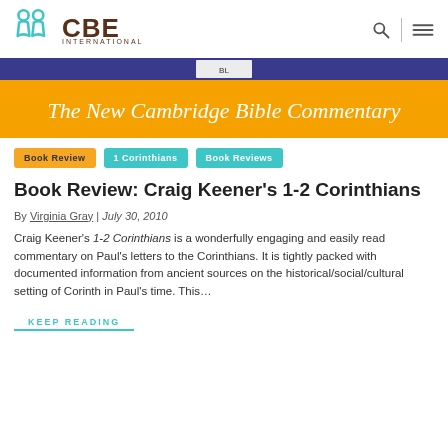CBE International
[Figure (photo): Book cover image showing 'The New Cambridge Bible Commentary' with blue and yellow banner]
Book Review
1 Corinthians
Book Reviews
Book Review: Craig Keener's 1-2 Corinthians
By Virginia Gray | July 30, 2010
Craig Keener's 1-2 Corinthians is a wonderfully engaging and easily read commentary on Paul's letters to the Corinthians. It is tightly packed with documented information from ancient sources on the historical/social/cultural setting of Corinth in Paul's time. This...
KEEP READING